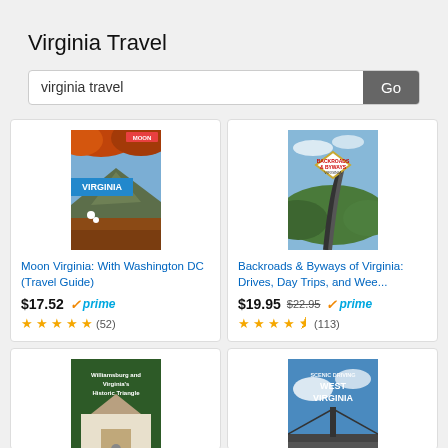Virginia Travel
virginia travel  Go
[Figure (screenshot): Book cover for Moon Virginia: With Washington DC (Travel Guide) showing autumn foliage and mountain landscape with VIRGINIA banner]
Moon Virginia: With Washington DC (Travel Guide)
$17.52 ✓prime (52 reviews, 4.5 stars)
[Figure (screenshot): Book cover for Backroads & Byways of Virginia showing winding road through green landscape]
Backroads & Byways of Virginia: Drives, Day Trips, and Wee...
$19.95 $22.95 ✓prime (113 reviews, 4.5 stars)
[Figure (screenshot): Book cover for Williamsburg and Virginia's Historic Triangle showing historic building]
[Figure (screenshot): Book cover for Scenic Driving West Virginia showing highway bridge and sky]